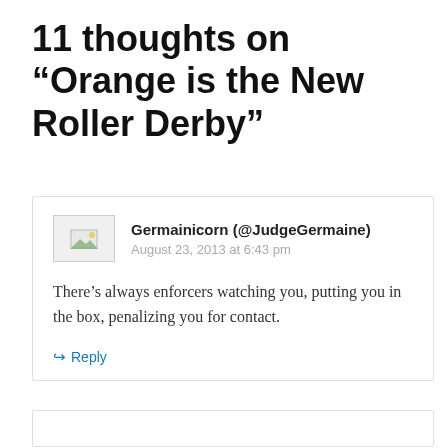11 thoughts on “Orange is the New Roller Derby”
Germainicorn (@JudgeGermaine)
August 23, 2013 at 6:43 pm

There’s always enforcers watching you, putting you in the box, penalizing you for contact.
Reply